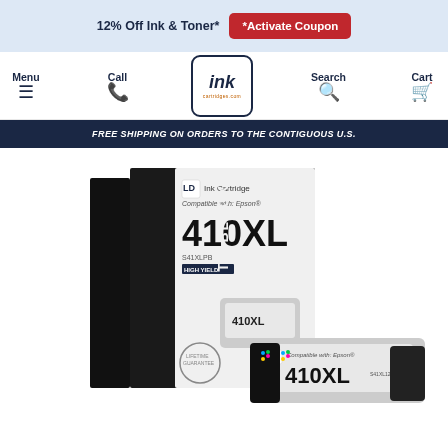12% Off Ink & Toner* *Activate Coupon
[Figure (screenshot): Website navigation bar with Menu, Call, Ink Cartridges logo, Search and Cart icons]
FREE SHIPPING ON ORDERS TO THE CONTIGUOUS U.S.
[Figure (photo): LD Ink Cartridge Compatible with Epson 410XL Photo Black - product box and ink cartridge shown]